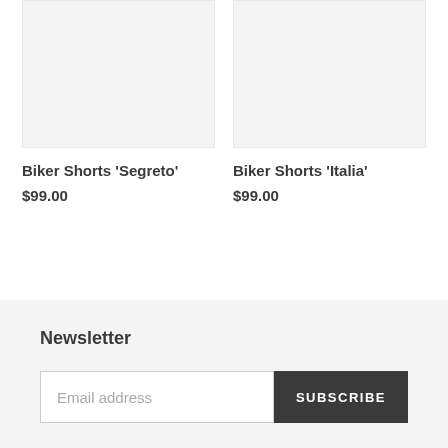[Figure (photo): Product image placeholder for Biker Shorts 'Segreto' — light gray rectangle]
Biker Shorts 'Segreto'
$99.00
[Figure (photo): Product image placeholder for Biker Shorts 'Italia' — light gray rectangle]
Biker Shorts 'Italia'
$99.00
Newsletter
Email address
SUBSCRIBE